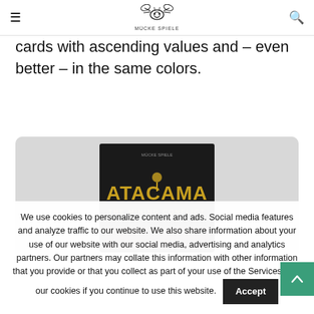≡  MÜCKE SPIELE  🔍
cards with ascending values and – even better – in the same colors.
[Figure (photo): Photo of the Atacama: The Mining Conflict board game box cover against a light gray background. The box features golden stylized text 'ATACAMA' with 'THE MINING CONFLICT' subtitle.]
We use cookies to personalize content and ads. Social media features and analyze traffic to our website. We also share information about your use of our website with our social media, advertising and analytics partners. Our partners may collate this information with other information that you provide or that you collect as part of your use of the Services. You our cookies if you continue to use this website.